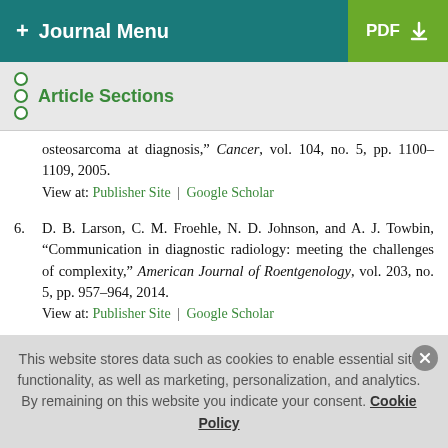+ Journal Menu | PDF
Article Sections
osteosarcoma at diagnosis," Cancer, vol. 104, no. 5, pp. 1100–1109, 2005. View at: Publisher Site | Google Scholar
6. D. B. Larson, C. M. Froehle, N. D. Johnson, and A. J. Towbin, "Communication in diagnostic radiology: meeting the challenges of complexity," American Journal of Roentgenology, vol. 203, no. 5, pp. 957–964, 2014. View at: Publisher Site | Google Scholar
This website stores data such as cookies to enable essential site functionality, as well as marketing, personalization, and analytics. By remaining on this website you indicate your consent. Cookie Policy